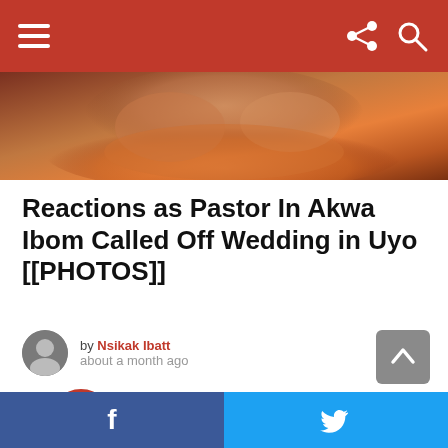Navigation header with hamburger menu, share icon, and search icon
[Figure (photo): Hero image showing hands with orange/red clothing and jewelry]
Reactions as Pastor In Akwa Ibom Called Off Wedding in Uyo [[PHOTOS]]
by Nsikak Ibatt about a month ago
[Figure (logo): Red circle with flame/fire icon - site logo]
Social share bar with Facebook and Twitter buttons